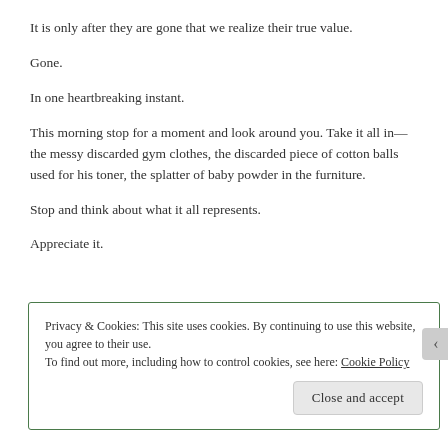It is only after they are gone that we realize their true value.
Gone.
In one heartbreaking instant.
This morning stop for a moment and look around you. Take it all in— the messy discarded gym clothes, the discarded piece of cotton balls used for his toner, the splatter of baby powder in the furniture.
Stop and think about what it all represents.
Appreciate it.
Privacy & Cookies: This site uses cookies. By continuing to use this website, you agree to their use.
To find out more, including how to control cookies, see here: Cookie Policy